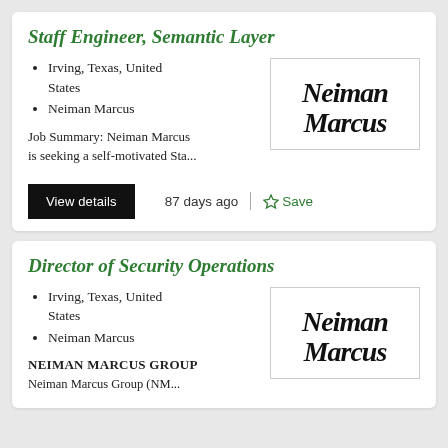Staff Engineer, Semantic Layer
Irving, Texas, United States
Neiman Marcus
[Figure (logo): Neiman Marcus cursive script logo]
Job Summary: Neiman Marcus is seeking a self-motivated Sta...
View details
87 days ago
Save
Director of Security Operations
Irving, Texas, United States
Neiman Marcus
[Figure (logo): Neiman Marcus cursive script logo]
NEIMAN MARCUS GROUP
Neiman Marcus Group (NM...